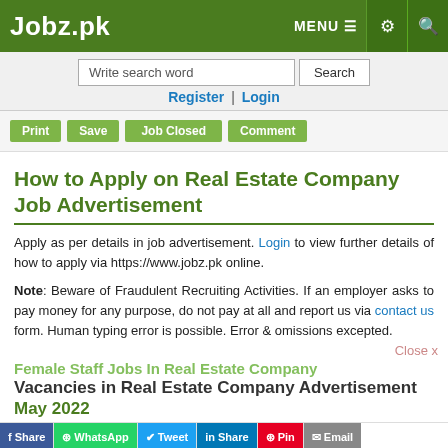Jobz.pk — MENU navigation header with search bar, Register | Login links
How to Apply on Real Estate Company Job Advertisement
Apply as per details in job advertisement. Login to view further details of how to apply via https://www.jobz.pk online.
Note: Beware of Fraudulent Recruiting Activities. If an employer asks to pay money for any purpose, do not pay at all and report us via contact us form. Human typing error is possible. Error & omissions excepted.
Female Staff Jobs In Real Estate Company
Vacancies in Real Estate Company Advertisement May 2022
Female Staff | Office Staff
Jobs in Lahore